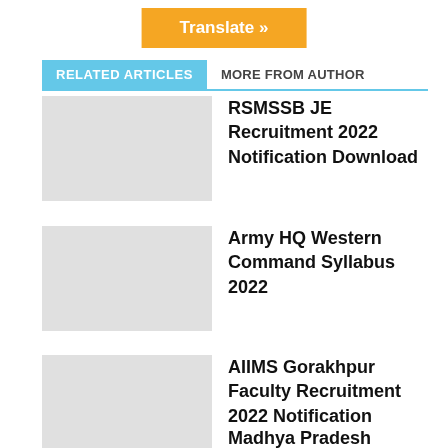Translate »
RELATED ARTICLES   MORE FROM AUTHOR
RSMSSB JE Recruitment 2022 Notification Download
Army HQ Western Command Syllabus 2022
AIIMS Gorakhpur Faculty Recruitment 2022 Notification
Madhya Pradesh Professional Education Board Police Sub Inspector